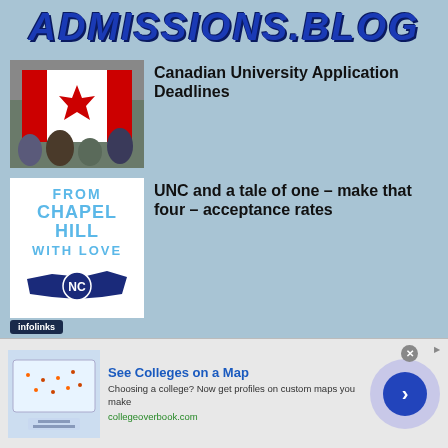ADMISSIONS.BLOG
[Figure (photo): People holding a Canadian flag]
Canadian University Application Deadlines
[Figure (illustration): Book cover: FROM CHAPEL HILL WITH LOVE with UNC logo and NC state outline]
UNC and a tale of one – make that four – acceptance rates
[Figure (infographic): Infolinks ad: See Colleges on a Map. Choosing a college? Now get profiles on custom maps you make. collegeoverbook.com]